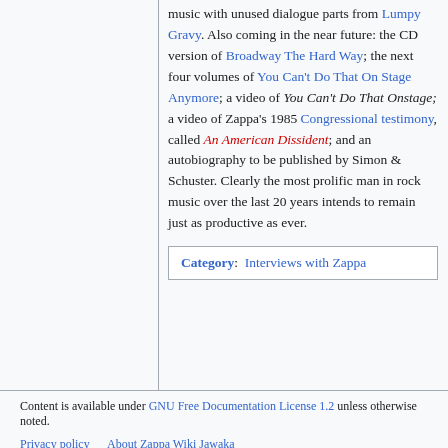music with unused dialogue parts from Lumpy Gravy. Also coming in the near future: the CD version of Broadway The Hard Way; the next four volumes of You Can't Do That On Stage Anymore; a video of You Can't Do That Onstage; a video of Zappa's 1985 Congressional testimony, called An American Dissident; and an autobiography to be published by Simon & Schuster. Clearly the most prolific man in rock music over the last 20 years intends to remain just as productive as ever.
| Category:  Interviews with Zappa |
Content is available under GNU Free Documentation License 1.2 unless otherwise noted.

Privacy policy   About Zappa Wiki Jawaka